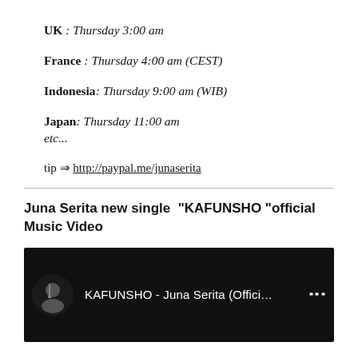UK : Thursday 3:00 am
France : Thursday 4:00 am (CEST)
Indonesia: Thursday 9:00 am (WIB)
Japan: Thursday 11:00 am
etc...
tip ⇒ http://paypal.me/junaserita
Juna Serita new single “KAFUNSHO “official Music Video
[Figure (screenshot): YouTube video thumbnail showing KAFUNSHO - Juna Serita (Offici... with avatar image of performer and keyboard/cello in background]